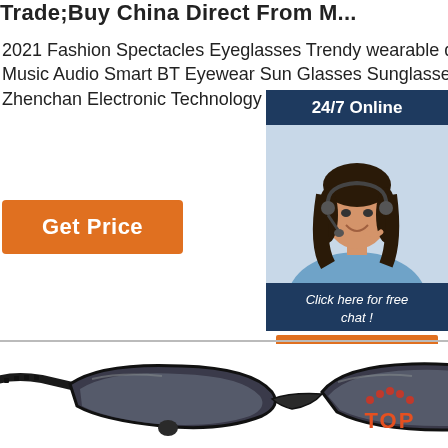Trade;Buy China Direct From M...
2021 Fashion Spectacles Eyeglasses Trendy wearable devices Polarized Music Audio Smart BT Eyewear Sun Glasses Sunglasses Ningbo Zhenchan Electronic Technology Ltd., Co. …
Get Price
[Figure (photo): Customer service representative with headset, smiling. Dark hair, wearing blue shirt. Dark blue panel with '24/7 Online' header and 'Click here for free chat!' text and orange QUOTATION button.]
[Figure (photo): Black polarized sport sunglasses with semi-rimless frame and textured temples, photographed on white background.]
[Figure (logo): Orange and red TOP logo with dot pattern above the letters.]